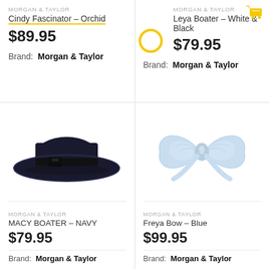MORGAN & TAYLOR
Cindy Fascinator – Orchid
$89.95
Brand: Morgan & Taylor
MORGAN & TAYLOR
Leya Boater – White & Black
$79.95
Brand: Morgan & Taylor
[Figure (photo): Navy wide-brim boater hat with black ribbon band, viewed from front-slightly-above angle on white background]
[Figure (photo): Light blue bow hair accessory on white background]
MORGAN & TAYLOR
MACY BOATER – NAVY
$79.95
Brand: Morgan & Taylor
MORGAN & TAYLOR
Freya Bow – Blue
$99.95
Brand: Morgan & Taylor